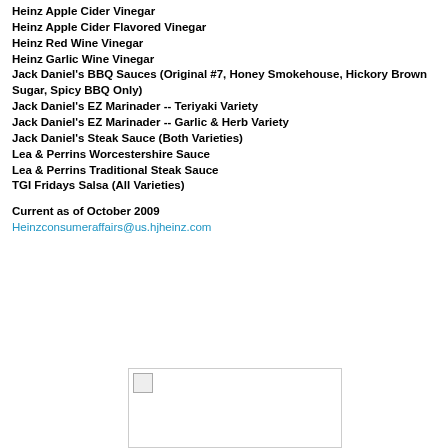Heinz Apple Cider Vinegar
Heinz Apple Cider Flavored Vinegar
Heinz Red Wine Vinegar
Heinz Garlic Wine Vinegar
Jack Daniel's BBQ Sauces (Original #7, Honey Smokehouse, Hickory Brown Sugar, Spicy BBQ Only)
Jack Daniel's EZ Marinader -- Teriyaki Variety
Jack Daniel's EZ Marinader -- Garlic & Herb Variety
Jack Daniel's Steak Sauce (Both Varieties)
Lea & Perrins Worcestershire Sauce
Lea & Perrins Traditional Steak Sauce
TGI Fridays Salsa (All Varieties)
Current as of October 2009
Heinzconsumeraffairs@us.hjheinz.com
[Figure (other): Broken image placeholder]